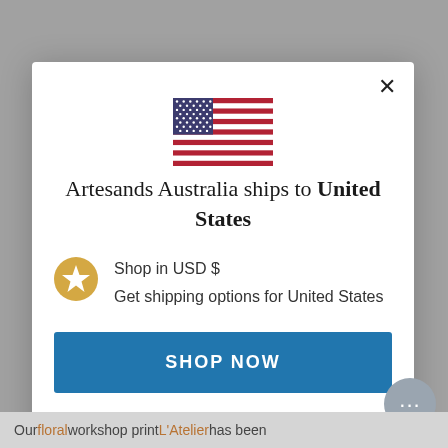[Figure (screenshot): Modal dialog on a website. Contains US flag, shipping destination text, shop now button, and change shipping country link.]
Artesands Australia ships to United States
Shop in USD $
Get shipping options for United States
SHOP NOW
CHANGE SHIPPING COUNTRY
Our floral workshop print L'Atelier has been